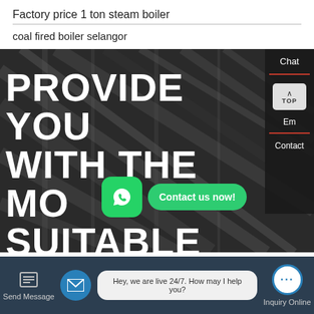Factory price 1 ton steam boiler
coal fired boiler selangor
[Figure (screenshot): Hero banner with dark textured background showing large white bold text 'PROVIDE YOU WITH THE MOST SUITABLE PLAN'. Side panel with Chat, TOP button, Em, Contact labels. WhatsApp icon with 'Contact us now!' green button overlay.]
Send Message
Hey, we are live 24/7. How may I help you?
Inquiry Online